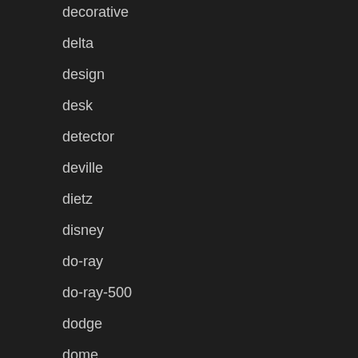decorative
delta
design
desk
detector
deville
dietz
disney
do-ray
do-ray-500
dodge
dome
drew
drip
driving